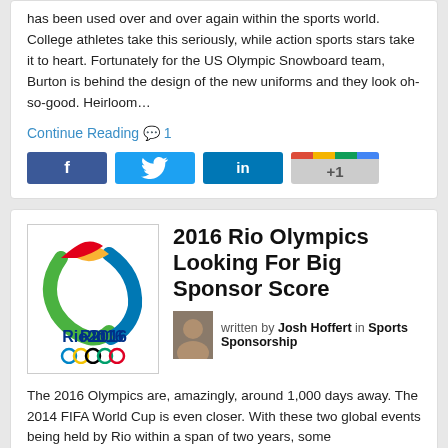has been used over and over again within the sports world. College athletes take this seriously, while action sports stars take it to heart. Fortunately for the US Olympic Snowboard team, Burton is behind the design of the new uniforms and they look oh-so-good. Heirloom…
Continue Reading 💬 1
[Figure (infographic): Social share buttons: Facebook (f), Twitter (bird), LinkedIn (in), Google +1]
[Figure (logo): Rio 2016 Olympics logo with colorful figure and Olympic rings]
2016 Rio Olympics Looking For Big Sponsor Score
written by Josh Hoffert in Sports Sponsorship
The 2016 Olympics are, amazingly, around 1,000 days away. The 2014 FIFA World Cup is even closer. With these two global events being held by Rio within a span of two years, some